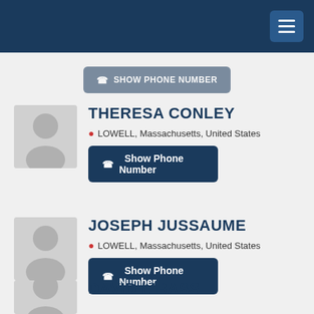Show Phone Number
THERESA CONLEY
LOWELL, Massachusetts, United States
Show Phone Number
JOSEPH JUSSAUME
LOWELL, Massachusetts, United States
Show Phone Number
DAVID LIBASSI